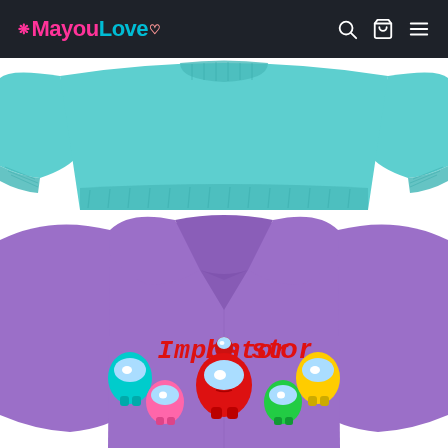MayouLove
[Figure (photo): Teal/cyan crewneck sweatshirt product photo showing the body and sleeves of the garment on a white background]
[Figure (photo): Purple hoodie with Among Us 'Impostor' graphic print showing colorful Among Us characters (cyan, pink, red, green, yellow) below red text reading 'Impostor', displayed on a white background]